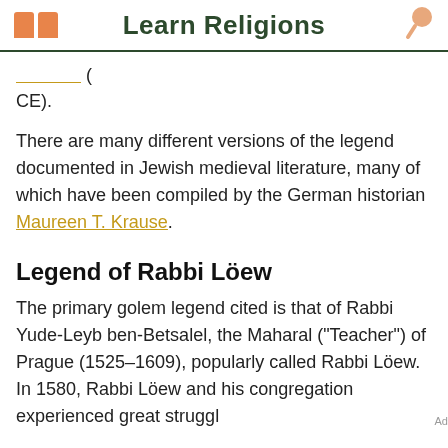Learn Religions
CE).
There are many different versions of the legend documented in Jewish medieval literature, many of which have been compiled by the German historian Maureen T. Krause.
Legend of Rabbi Löew
The primary golem legend cited is that of Rabbi Yude-Leyb ben-Betsalel, the Maharal ("Teacher") of Prague (1525–1609), popularly called Rabbi Löew. In 1580, Rabbi Löew and his congregation experienced great struggl